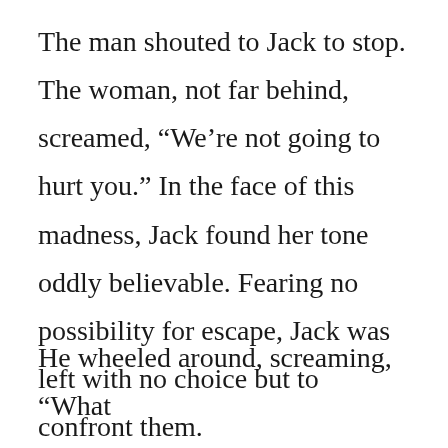The man shouted to Jack to stop. The woman, not far behind, screamed, “We’re not going to hurt you.” In the face of this madness, Jack found her tone oddly believable. Fearing no possibility for escape, Jack was left with no choice but to confront them.
He wheeled around, screaming, “What